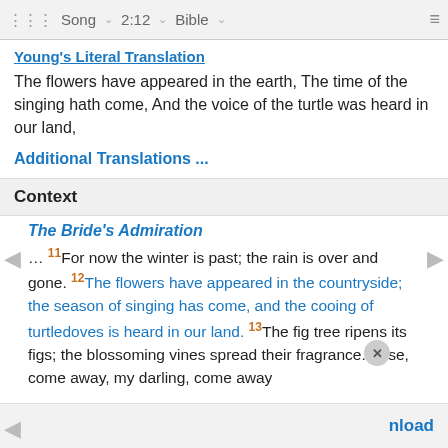Song  2:12  Bible
Young's Literal Translation
The flowers have appeared in the earth, The time of the singing hath come, And the voice of the turtle was heard in our land,
Additional Translations ...
Context
The Bride's Admiration
… 11 For now the winter is past; the rain is over and gone. 12 The flowers have appeared in the countryside; the season of singing has come, and the cooing of turtledoves is heard in our land. 13 The fig tree ripens its figs; the blossoming vines spread their fragrance. Arise, come away, my darling, come away
nload